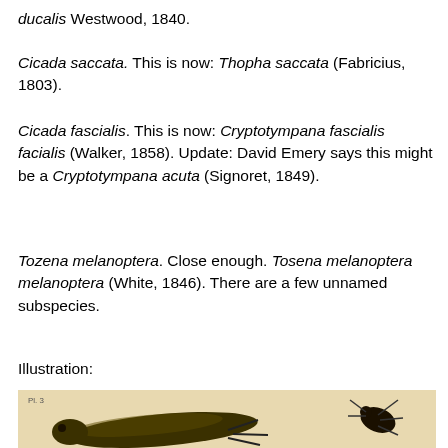ducalis Westwood, 1840.
Cicada saccata. This is now: Thopha saccata (Fabricius, 1803).
Cicada fascialis. This is now: Cryptotympana facialis facialis (Walker, 1858). Update: David Emery says this might be a Cryptotympana acuta (Signoret, 1849).
Tozena melanoptera. Close enough. Tosena melanoptera melanoptera (White, 1846). There are a few unnamed subspecies.
Illustration:
[Figure (illustration): Illustration of a cicada insect, showing a side view of the body with black and olive/yellow coloring and legs, on a cream/tan background. A small plate label 'Pl. 3' is visible in the upper left corner.]